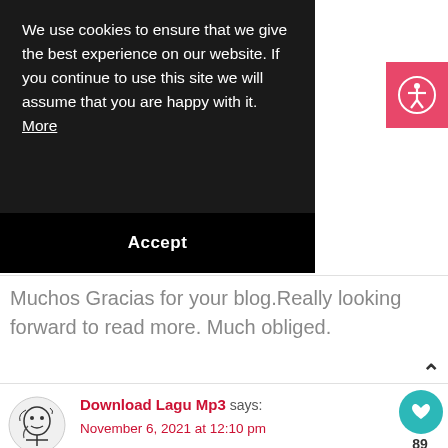We use cookies to ensure that we give the best experience on our website. If you continue to use this site we will assume that you are happy with it. More
Accept
[Figure (illustration): Accessibility icon: person with arms and legs spread in a circle, on pink/red background]
Muchos Gracias for your blog.Really looking forward to read more. Much obliged.
[Figure (illustration): Avatar sketch illustration of a person thinking with hand on chin]
Download Lagu Mp3 says: November 6, 2021 at 12:10 pm
[Figure (illustration): Teal heart like button circle with count 89]
Muchos Gracias for your article.Really thank you! Mu obliged.
[Figure (illustration): Share icon button circle]